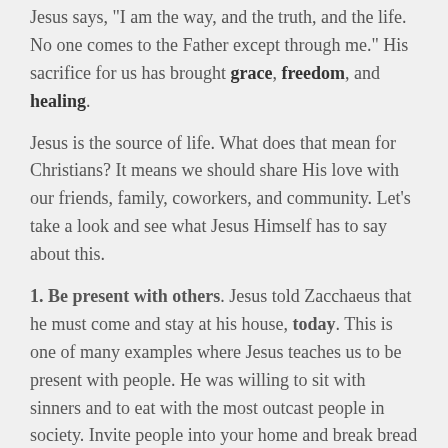Jesus says, "I am the way, and the truth, and the life. No one comes to the Father except through me." His sacrifice for us has brought grace, freedom, and healing.
Jesus is the source of life. What does that mean for Christians? It means we should share His love with our friends, family, coworkers, and community. Let's take a look and see what Jesus Himself has to say about this.
1. Be present with others. Jesus told Zacchaeus that he must come and stay at his house, today. This is one of many examples where Jesus teaches us to be present with people. He was willing to sit with sinners and to eat with the most outcast people in society. Invite people into your home and break bread with them. The act of being present with people provides an opportunity to show them Je [speaker icon] ove (Luke 19:1-10).
2. See people as Jesus would. Jesus saw people at their